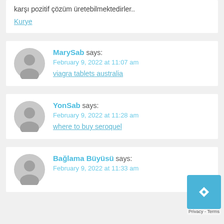karşı pozitif çözüm üretebilmektedirler..
Kurye
MarySab says: February 9, 2022 at 11:07 am viagra tablets australia
YonSab says: February 9, 2022 at 11:28 am where to buy seroquel
Bağlama Büyüsü says: February 9, 2022 at 11:33 am